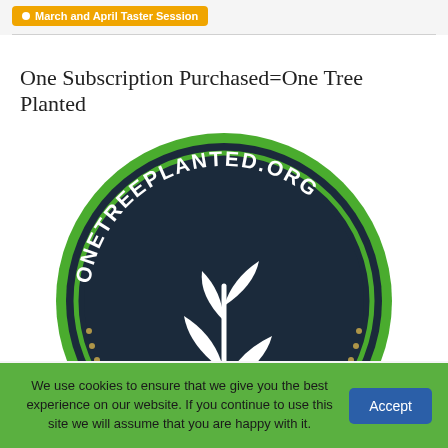March and April Taster Session
One Subscription Purchased=One Tree Planted
[Figure (logo): One Tree Planted circular logo — dark navy circle with green border ring, white text 'ONETREEPLANTED.ORG' arcing around the top, white seedling/plant illustration in the center, dotted tick marks along the inner border]
We use cookies to ensure that we give you the best experience on our website. If you continue to use this site we will assume that you are happy with it.